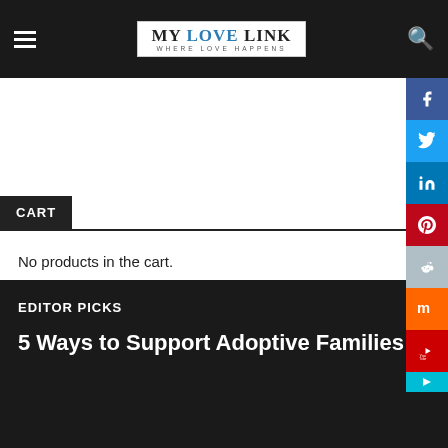MY LOVE LINK — WHERE LOVE HAPPENS
CART
No products in the cart.
EDITOR PICKS
5 Ways to Support Adoptive Families